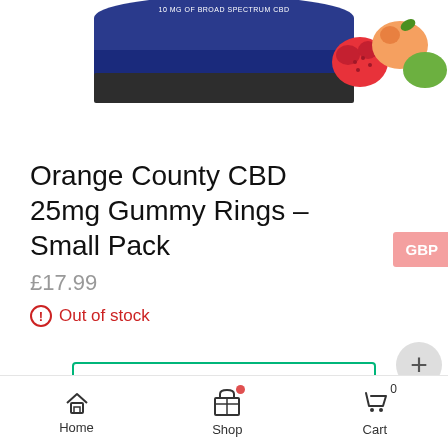[Figure (photo): Partial view of an Orange County CBD 25mg Gummy Rings small pack container with fruit gummies visible (raspberry, peach, lime), cropped at top of the page. Blue lid with '10 MG OF BROAD SPECTRUM CBD' text visible.]
Orange County CBD 25mg Gummy Rings – Small Pack
£17.99
Out of stock
[Figure (other): Review us on Trustpilot button with green star logo and teal border]
Add to Wishlist
Home  Shop  Cart